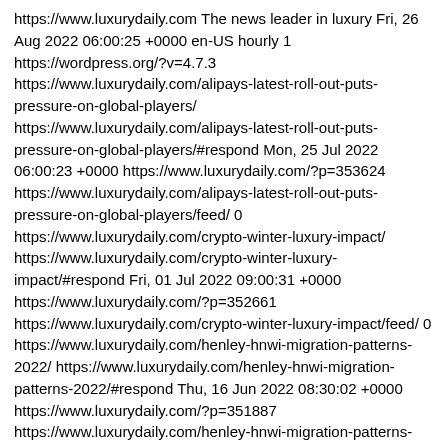https://www.luxurydaily.com The news leader in luxury Fri, 26 Aug 2022 06:00:25 +0000 en-US hourly 1 https://wordpress.org/?v=4.7.3 https://www.luxurydaily.com/alipays-latest-roll-out-puts-pressure-on-global-players/ https://www.luxurydaily.com/alipays-latest-roll-out-puts-pressure-on-global-players/#respond Mon, 25 Jul 2022 06:00:23 +0000 https://www.luxurydaily.com/?p=353624 https://www.luxurydaily.com/alipays-latest-roll-out-puts-pressure-on-global-players/feed/ 0 https://www.luxurydaily.com/crypto-winter-luxury-impact/ https://www.luxurydaily.com/crypto-winter-luxury-impact/#respond Fri, 01 Jul 2022 09:00:31 +0000 https://www.luxurydaily.com/?p=352661 https://www.luxurydaily.com/crypto-winter-luxury-impact/feed/ 0 https://www.luxurydaily.com/henley-hnwi-migration-patterns-2022/ https://www.luxurydaily.com/henley-hnwi-migration-patterns-2022/#respond Thu, 16 Jun 2022 08:30:02 +0000 https://www.luxurydaily.com/?p=351887 https://www.luxurydaily.com/henley-hnwi-migration-patterns-2022/feed/ 0 https://www.luxurydaily.com/fed-makes-historic-0-75pc-rate-hike/ https://www.luxurydaily.com/fed-makes-historic-0-75pc-rate-hike/#respond Wed, 15 Jun 2022 20:00:42 +0000 https://www.luxurydaily.com/?p=351889 https://www.luxurydaily.com/fed-makes-historic-0-75pc-rate-hike/feed/ 0 https://www.luxurydaily.com/may-2022-inflation-update/ https://www.luxurydaily.com/may-2022-inflation-update/#respond Fri, 10 Jun 2022 20:00:26 +0000